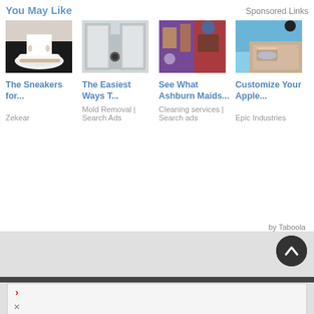You May Like
Sponsored Links
[Figure (photo): White sneakers worn by a person]
The Sneakers for...
Zekear
[Figure (photo): Moldy shower drain]
The Easiest Ways T...
Mold Removal | Search Ads
[Figure (photo): Cluttered room with cleaning supplies]
See What Ashburn Maids...
Cleaning services | Search ads
[Figure (photo): Person wearing Apple Watch with customized band]
Customize Your Apple...
Epic Industries
by Taboola